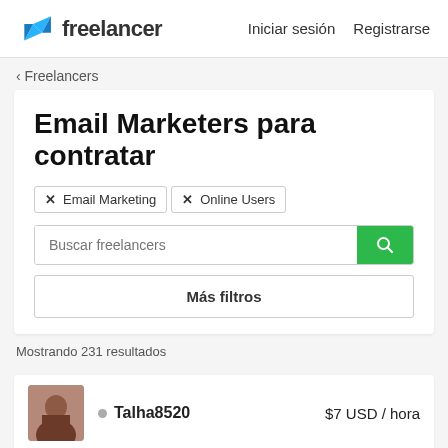Freelancer  Iniciar sesión  Registrarse
‹ Freelancers
Email Marketers para contratar
✕ Email Marketing  ✕ Online Users
Buscar freelancers
Más filtros
Mostrando 231 resultados
• Talha8520  $7 USD / hora